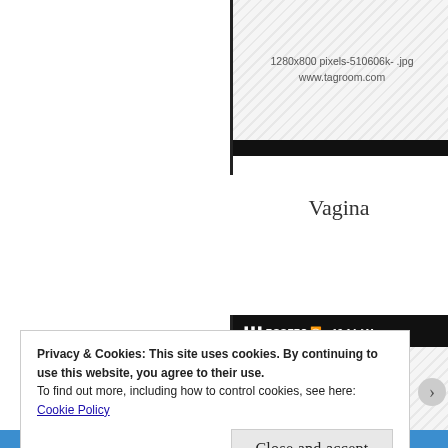[Figure (screenshot): Screenshot showing '1280x800 pixels-510606k- .jpg' and 'www.tagroom.com' on a diagonal-striped background with a black bar below]
Vagina
[Figure (screenshot): Mobile screenshot with status bar showing 'ROGERS' and '12:14 AM', below shows 'www.hamaraphotos.com' on a diagonal-striped background]
Privacy & Cookies: This site uses cookies. By continuing to use this website, you agree to their use.
To find out more, including how to control cookies, see here: Cookie Policy
Close and accept